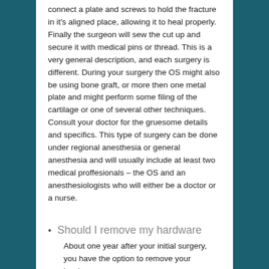connect a plate and screws to hold the fracture in it's aligned place, allowing it to heal properly. Finally the surgeon will sew the cut up and secure it with medical pins or thread. This is a very general description, and each surgery is different. During your surgery the OS might also be using bone graft, or more then one metal plate and might perform some filing of the cartilage or one of several other techniques. Consult your doctor for the gruesome details and specifics. This type of surgery can be done under regional anesthesia or general anesthesia and will usually include at least two medical proffesionals – the OS and an anesthesiologists who will either be a doctor or a nurse.
Should I remove my hardware
About one year after your initial surgery, you have the option to remove your hardware